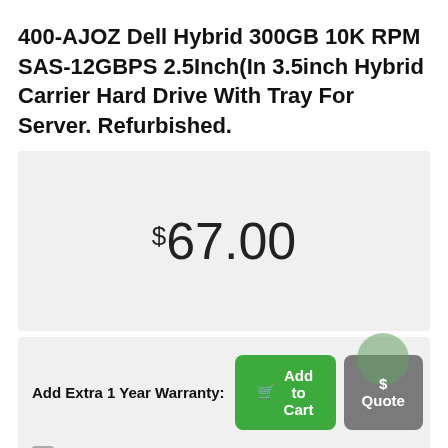400-AJOZ Dell Hybrid 300GB 10K RPM SAS-12GBPS 2.5Inch(In 3.5inch Hybrid Carrier Hard Drive With Tray For Server. Refurbished.
$67.00
Add Extra 1 Year Warranty:
(+$35.00)
Claim Up to 3.5% Discount on Checkout